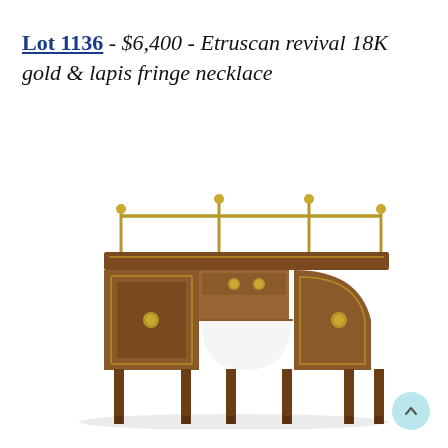Lot 1136 - $6,400 - Etruscan revival 18K gold & lapis fringe necklace
[Figure (photo): Antique mahogany sideboard with brass gallery rail, inlaid panels, brass ring pulls, and tapered legs]